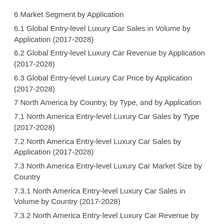6 Market Segment by Application
6.1 Global Entry-level Luxury Car Sales in Volume by Application (2017-2028)
6.2 Global Entry-level Luxury Car Revenue by Application (2017-2028)
6.3 Global Entry-level Luxury Car Price by Application (2017-2028)
7 North America by Country, by Type, and by Application
7.1 North America Entry-level Luxury Car Sales by Type (2017-2028)
7.2 North America Entry-level Luxury Car Sales by Application (2017-2028)
7.3 North America Entry-level Luxury Car Market Size by Country
7.3.1 North America Entry-level Luxury Car Sales in Volume by Country (2017-2028)
7.3.2 North America Entry-level Luxury Car Revenue by Country (2017-2028)
7.3.3 United States Market Size and Forecast (2017-2028)
7.3.4 Canada Market Size and Forecast (2017-2028)